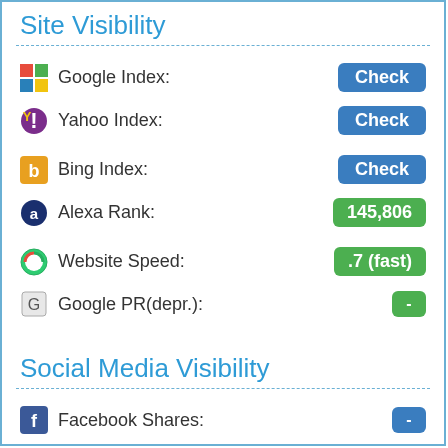Site Visibility
Google Index: Check
Yahoo Index: Check
Bing Index: Check
Alexa Rank: 145,806
Website Speed: .7 (fast)
Google PR(depr.): -
Social Media Visibility
Facebook Shares: -
Facebook Reactions: -
Facebook Comments: -